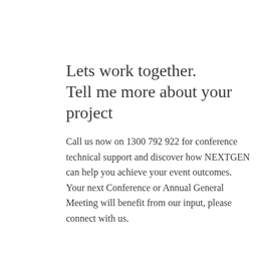Lets work together. Tell me more about your project
Call us now on 1300 792 922 for conference technical support and discover how NEXTGEN can help you achieve your event outcomes. Your next Conference or Annual General Meeting will benefit from our input, please connect with us.